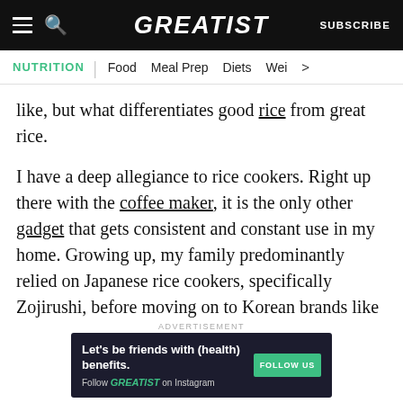GREATIST | SUBSCRIBE
NUTRITION | Food | Meal Prep | Diets | Wei >
like, but what differentiates good rice from great rice.
I have a deep allegiance to rice cookers. Right up there with the coffee maker, it is the only other gadget that gets consistent and constant use in my home. Growing up, my family predominantly relied on Japanese rice cookers, specifically Zojirushi, before moving on to Korean brands like Cuckoo. A solid rice cooker has always been an
[Figure (infographic): Advertisement banner: dark background with text 'Let's be friends with (health) benefits. Follow GREATIST on Instagram' and a green FOLLOW US button.]